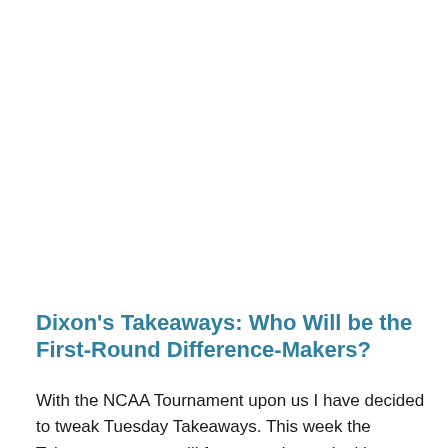Dixon's Takeaways: Who Will be the First-Round Difference-Makers?
With the NCAA Tournament upon us I have decided to tweak Tuesday Takeaways. This week the Takeaways space will focus on players looking to make a